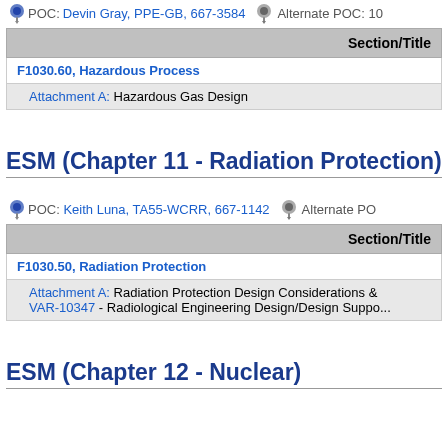POC: Devin Gray, PPE-GB, 667-3584  Alternate POC: 10...
| Section/Title |
| --- |
| F1030.60, Hazardous Process |
| Attachment A: Hazardous Gas Design |
ESM (Chapter 11 - Radiation Protection)
POC: Keith Luna, TA55-WCRR, 667-1142  Alternate PO...
| Section/Title |
| --- |
| F1030.50, Radiation Protection |
| Attachment A: Radiation Protection Design Considerations &
VAR-10347 - Radiological Engineering Design/Design Suppo... |
ESM (Chapter 12 - Nuclear)